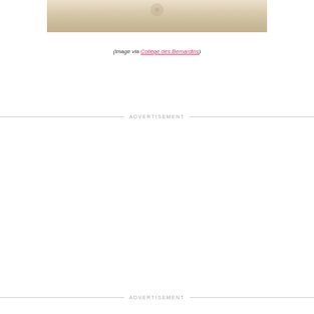[Figure (photo): Partial view of a stone or marble floor/ceiling interior, beige and tan tones, with a circular detail visible]
(image via Collège des Bernardins)
ADVERTISEMENT
ADVERTISEMENT